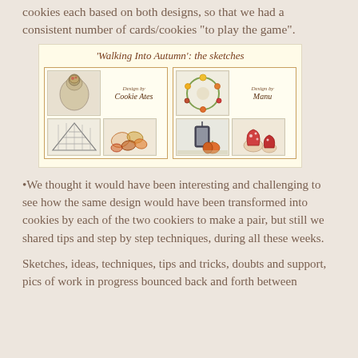cookies each based on both designs, so that we had a consistent number of cards/cookies "to play the game".
[Figure (illustration): Image titled 'Walking Into Autumn': the sketches, showing two panels side by side. Left panel labeled 'Design by Cookie Ates' with sketches of a woman's hair bun, a geometric shawl, and autumn leaves. Right panel labeled 'Design by Manu' with sketches of a floral wreath, a lantern with pumpkins, and mushrooms.]
•We thought it would have been interesting and challenging to see how the same design would have been transformed into cookies by each of the two cookiers to make a pair, but still we shared tips and step by step techniques, during all these weeks.
Sketches, ideas, techniques, tips and tricks, doubts and support, pics of work in progress bounced back and forth between